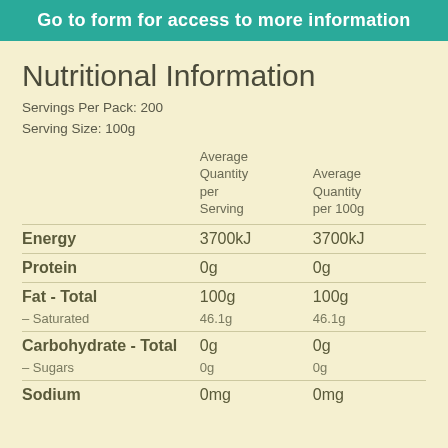Go to form for access to more information
Nutritional Information
Servings Per Pack: 200
Serving Size: 100g
|  | Average Quantity per Serving | Average Quantity per 100g |
| --- | --- | --- |
| Energy | 3700kJ | 3700kJ |
| Protein | 0g | 0g |
| Fat - Total | 100g | 100g |
| – Saturated | 46.1g | 46.1g |
| Carbohydrate - Total | 0g | 0g |
| – Sugars | 0g | 0g |
| Sodium | 0mg | 0mg |